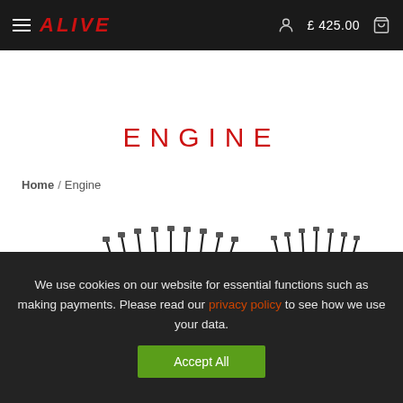ALIVE | £425.00
ENGINE
Home / Engine
[Figure (photo): Two engine bolt/stud kit parts with fan-shaped arrays of bolts and metal base plates shown side by side]
We use cookies on our website for essential functions such as making payments. Please read our privacy policy to see how we use your data. Accept All